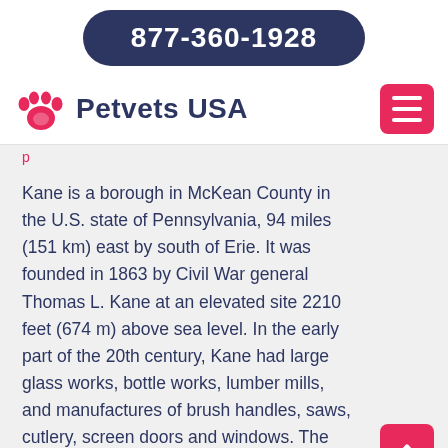877-360-1928
Petvets USA
Kane is a borough in McKean County in the U.S. state of Pennsylvania, 94 miles (151 km) east by south of Erie. It was founded in 1863 by Civil War general Thomas L. Kane at an elevated site 2210 feet (674 m) above sea level. In the early part of the 20th century, Kane had large glass works, bottle works, lumber mills, and manufactures of brush handles, saws, cutlery, screen doors and windows. The population peaked in the 1920s but